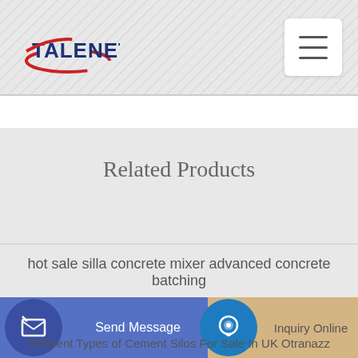[Figure (logo): TALENET company logo with red ellipse and blue text]
Related Products
hot sale silla concrete mixer advanced concrete batching
Both Sides Concrete Pumping Rw
Send Message    Inquiry Online    Different Types of Cement Silos For Sale In UK Otranazz